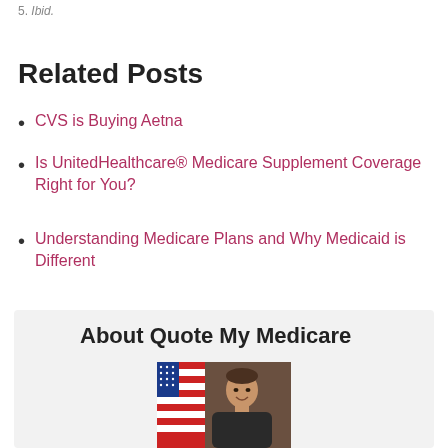5. Ibid.
Related Posts
CVS is Buying Aetna
Is UnitedHealthcare® Medicare Supplement Coverage Right for You?
Understanding Medicare Plans and Why Medicaid is Different
About Quote My Medicare
[Figure (photo): Photo of a man smiling in front of an American flag background]